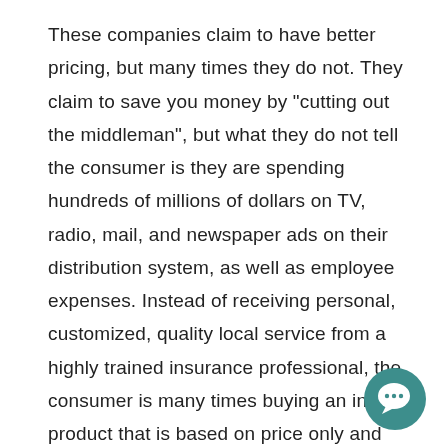These companies claim to have better pricing, but many times they do not. They claim to save you money by "cutting out the middleman", but what they do not tell the consumer is they are spending hundreds of millions of dollars on TV, radio, mail, and newspaper ads on their distribution system, as well as employee expenses. Instead of receiving personal, customized, quality local service from a highly trained insurance professional, the consumer is many times buying an inferior product that is based on price only and impersonal service from distant and minimally trained employees. By purchasing one's insurance from an independent agent, a consumer can talk to the same people every time.
[Figure (illustration): Teal circular chat/speech bubble icon in the bottom-right corner]